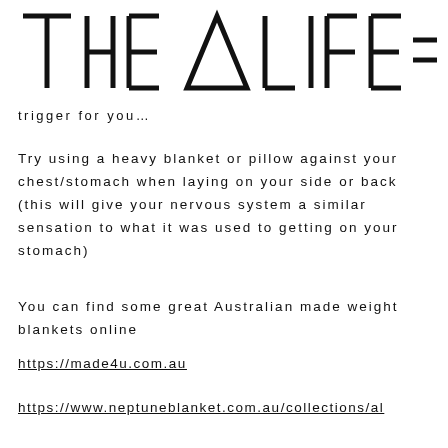[Figure (logo): THE DELTA LIFE logo with triangle symbol and double horizontal lines]
trigger for you…
Try using a heavy blanket or pillow against your chest/stomach when laying on your side or back (this will give your nervous system a similar sensation to what it was used to getting on your stomach)
You can find some great Australian made weight blankets online
https://made4u.com.au
https://www.neptuneblanket.com.au/collections/al
https://...